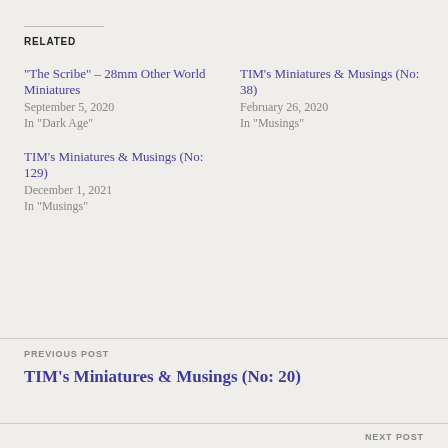RELATED
“The Scribe” – 28mm Other World Miniatures
September 5, 2020
In "Dark Age"
TIM’s Miniatures & Musings (No: 38)
February 26, 2020
In "Musings"
TIM’s Miniatures & Musings (No: 129)
December 1, 2021
In "Musings"
PREVIOUS POST
TIM’s Miniatures & Musings (No: 20)
NEXT POST